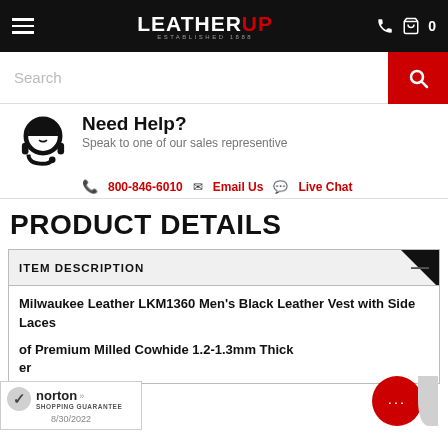[Figure (screenshot): LeatherUp website navigation bar with hamburger menu, logo, phone and cart icons on black background]
[Figure (screenshot): Search bar with red search button]
Need Help? Speak to one of our sales representive | 800-846-6010 | Email Us | Live Chat
PRODUCT DETAILS
ITEM DESCRIPTION
Milwaukee Leather LKM1360 Men's Black Leather Vest with Side Laces
of Premium Milled Cowhide 1.2-1.3mm Thick er
[Figure (logo): Norton Shopping Guarantee badge with date 8/30/2022]
[Figure (illustration): Red chat bubble with ellipsis dots]